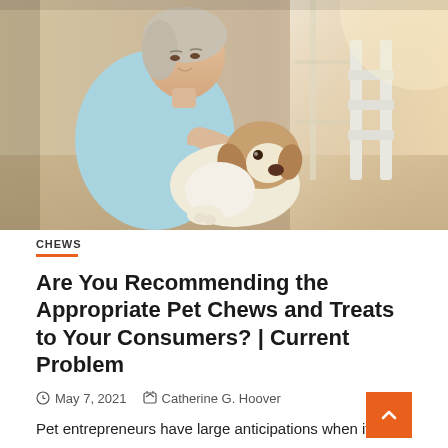[Figure (photo): Woman in light blue shirt holding and petting a beagle dog indoors, soft warm light from window in background with white chair/furniture visible]
CHEWS
Are You Recommending the Appropriate Pet Chews and Treats to Your Consumers? | Current Problem
May 7, 2021   Catherine G. Hoover
Pet entrepreneurs have large anticipations when it